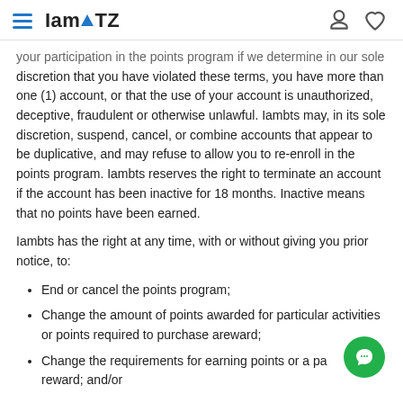IamATZ
your participation in the points program if we determine in our sole discretion that you have violated these terms, you have more than one (1) account, or that the use of your account is unauthorized, deceptive, fraudulent or otherwise unlawful. Iambts may, in its sole discretion, suspend, cancel, or combine accounts that appear to be duplicative, and may refuse to allow you to re-enroll in the points program. Iambts reserves the right to terminate an account if the account has been inactive for 18 months. Inactive means that no points have been earned.
Iambts has the right at any time, with or without giving you prior notice, to:
End or cancel the points program;
Change the amount of points awarded for particular activities or points required to purchase areward;
Change the requirements for earning points or a particular reward; and/or